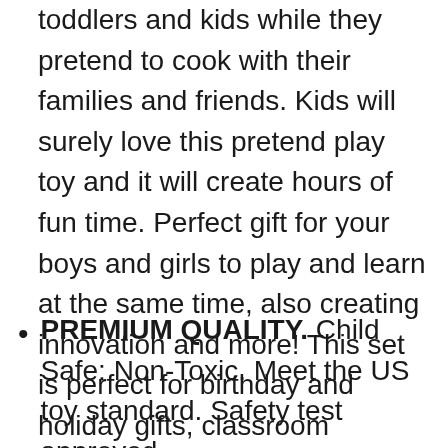toddlers and kids while they pretend to cook with their families and friends. Kids will surely love this pretend play toy and it will create hours of fun time. Perfect gift for your boys and girls to play and learn at the same time, also creating innovation and more! This set is perfect for birthday and holiday gifts, classroom activities and classroom prizes.
PREMIUM QUALITY. Child Safe: Non-Toxic. Meet the US toy standard. Safety test approved.